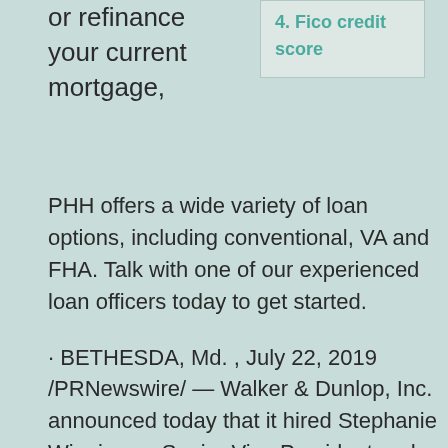or refinance your current mortgage,
4. Fico credit score
PHH offers a wide variety of loan options, including conventional, VA and FHA. Talk with one of our experienced loan officers today to get started.
· BETHESDA, Md. , July 22, 2019 /PRNewswire/ — Walker & Dunlop, Inc. announced today that it hired Stephanie Wiggins as Senior Vice President and Chief Production Officer of the FHA Finance team.
Mortgage Alliance It pays to use the RightBroker®. Mortgage Alliance awards $100,000 to a lucky couple from Sudbury! Mortgage Alliance announces the $100,000 winners of the 2018 Minimize-Your-Mortgage Sweepstakes in an award ceremony held at the